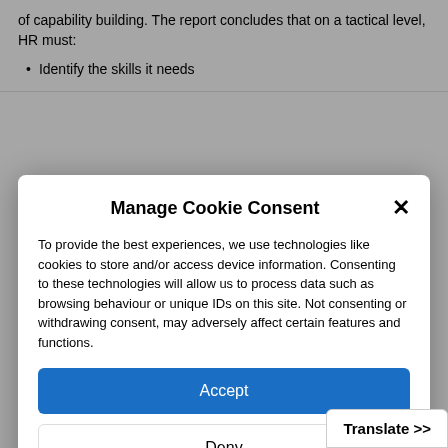of capability building. The report concludes that on a tactical level, HR must:
Identify the skills it needs
Manage Cookie Consent
To provide the best experiences, we use technologies like cookies to store and/or access device information. Consenting to these technologies will allow us to process data such as browsing behaviour or unique IDs on this site. Not consenting or withdrawing consent, may adversely affect certain features and functions.
Accept
Deny
View preferences
Cookie Policy  Privacy Policy
Translate >>